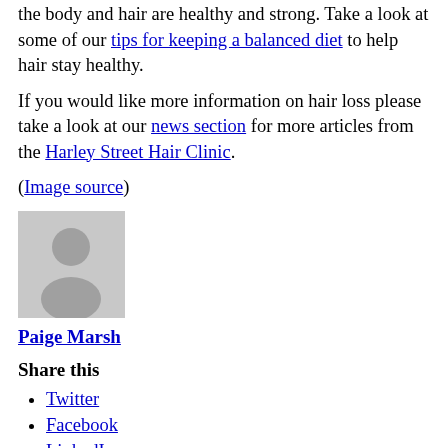the body and hair are healthy and strong. Take a look at some of our tips for keeping a balanced diet to help hair stay healthy.
If you would like more information on hair loss please take a look at our news section for more articles from the Harley Street Hair Clinic.
(Image source)
[Figure (illustration): Generic grey avatar/profile placeholder image showing a silhouette of a person]
Paige Marsh
Share this
Twitter
Facebook
LinkedIn
Email